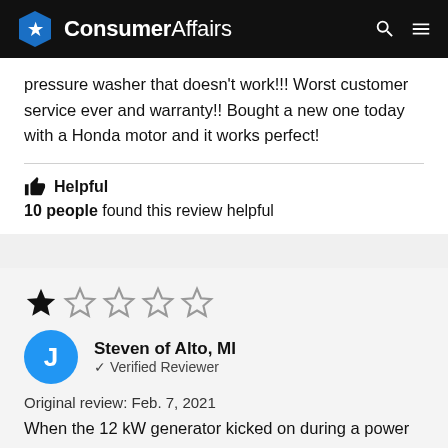ConsumerAffairs
pressure washer that doesn't work!!! Worst customer service ever and warranty!! Bought a new one today with a Honda motor and it works perfect!
👍 Helpful
10 people found this review helpful
[Figure (other): Star rating: 1 out of 5 stars]
Steven of Alto, MI
✔ Verified Reviewer
Original review: Feb. 7, 2021
When the 12 kW generator kicked on during a power